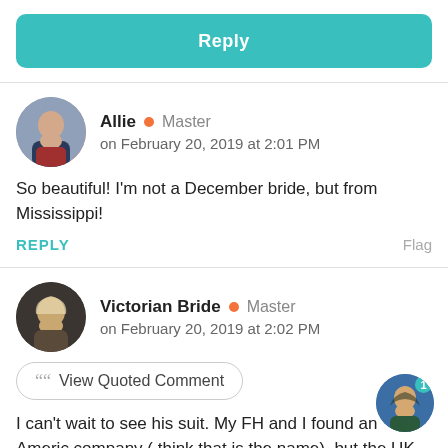[Figure (other): Teal Reply button bar]
Allie • Master
on February 20, 2019 at 2:01 PM
So beautiful! I'm not a December bride, but from Mississippi!
REPLY   Flag
Victorian Bride • Master
on February 20, 2019 at 2:02 PM
View Quoted Comment
I can't wait to see his suit. My FH and I found an Americ company ( think that is the name), but the UK has bee making them longer than us! 😉 FH may be ordering his